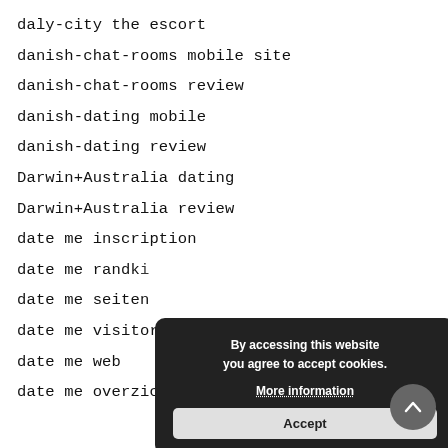daly-city the escort
danish-chat-rooms mobile site
danish-chat-rooms review
danish-dating mobile
danish-dating review
Darwin+Australia dating
Darwin+Australia review
date me inscription
date me randki
date me seiten
date me visitors
date me web
date me overzicht Dating
[Figure (screenshot): Cookie consent popup with dark background reading 'By accessing this website you agree to accept cookies.' with a 'More information' link and an 'Accept' button. A scroll-to-top arrow button appears at bottom right.]